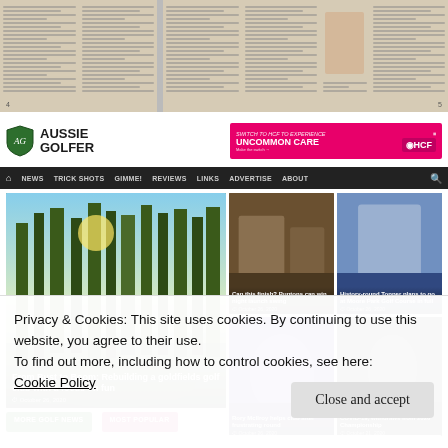[Figure (photo): Top portion shows a scanned magazine spread with multiple text columns on aged/cream paper]
[Figure (screenshot): Aussie Golfer website screenshot showing logo, HCF advertisement banner, navigation bar, and a grid of golf article images including 'From Bust to Boom: Rebuilding a goldfields golf club with a focus on fun', Rory McIlroy story, Adam Scott COVID withdrawal, and other golf news thumbnails. Below the image grid are MORE GOLF NEWS and MOST POPULAR tab buttons.]
Privacy & Cookies: This site uses cookies. By continuing to use this website, you agree to their use.
To find out more, including how to control cookies, see here:
Cookie Policy
Close and accept